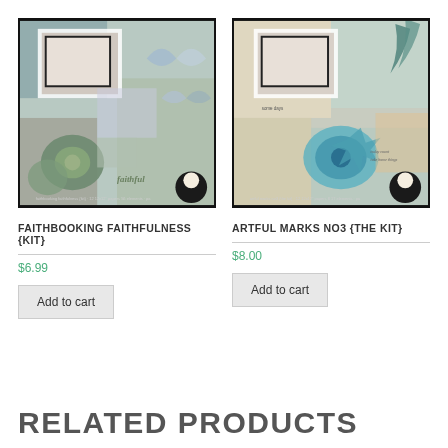[Figure (photo): Product image for Faithbooking Faithfulness Kit - collage art with butterflies, flowers, and text elements on dark background]
FAITHBOOKING FAITHFULNESS {KIT}
$6.99
Add to cart
[Figure (photo): Product image for Artful Marks No3 The Kit - teal and gold collage art with flowers and mixed media elements on dark background]
ARTFUL MARKS NO3 {THE KIT}
$8.00
Add to cart
RELATED PRODUCTS